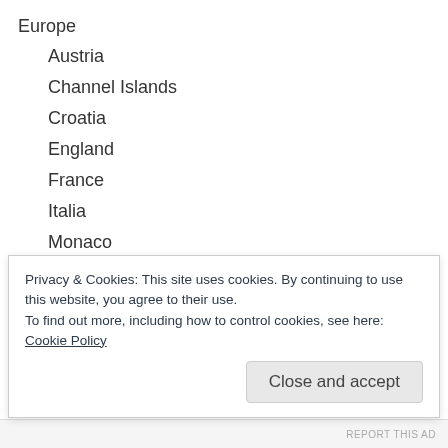Europe
Austria
Channel Islands
Croatia
England
France
Italia
Monaco
Scotland
Sicilia
Spain
Turkey
Wales
Privacy & Cookies: This site uses cookies. By continuing to use this website, you agree to their use. To find out more, including how to control cookies, see here: Cookie Policy
Close and accept
REPORT THIS AD